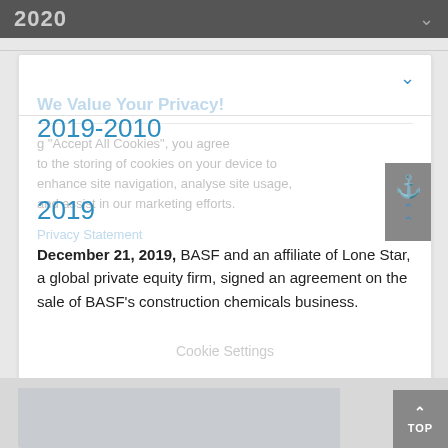2020
2019-2010
2019
December 21, 2019, BASF and an affiliate of Lone Star, a global private equity firm, signed an agreement on the sale of BASF's construction chemicals business.